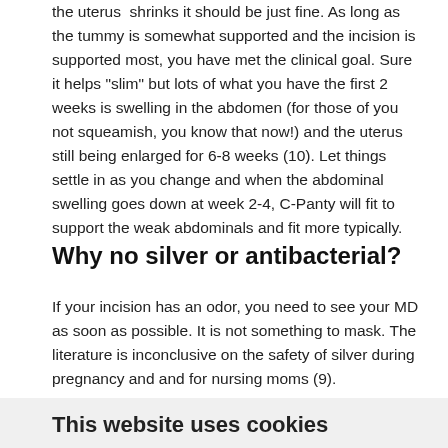the uterus  shrinks it should be just fine. As long as the tummy is somewhat supported and the incision is supported most, you have met the clinical goal. Sure it helps "slim" but lots of what you have the first 2 weeks is swelling in the abdomen (for those of you not squeamish, you know that now!) and the uterus still being enlarged for 6-8 weeks (10). Let things settle in as you change and when the abdominal swelling goes down at week 2-4, C-Panty will fit to support the weak abdominals and fit more typically.
Why no silver or antibacterial?
If your incision has an odor, you need to see your MD as soon as possible. It is not something to mask. The literature is inconclusive on the safety of silver during pregnancy and and for nursing moms (9).
This website uses cookies